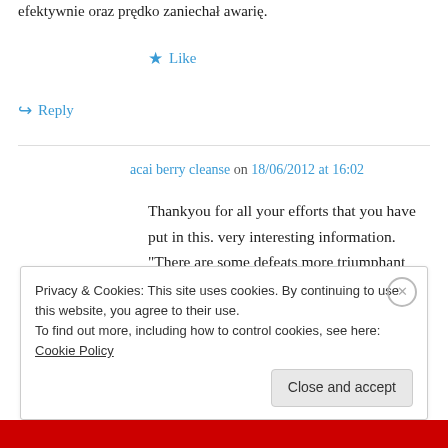efektywnie oraz prędko zaniechał awarię.
★ Like
↪ Reply
acai berry cleanse on 18/06/2012 at 16:02
Thankyou for all your efforts that you have put in this. very interesting information. "There are some defeats more triumphant than victories." by Michel Eyquem de Montaigne.
Privacy & Cookies: This site uses cookies. By continuing to use this website, you agree to their use.
To find out more, including how to control cookies, see here: Cookie Policy
Close and accept